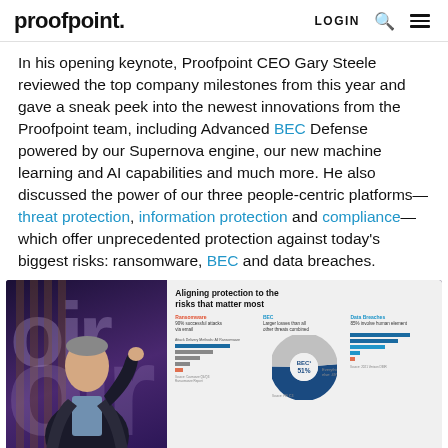proofpoint. LOGIN [search] [menu]
In his opening keynote, Proofpoint CEO Gary Steele reviewed the top company milestones from this year and gave a sneak peek into the newest innovations from the Proofpoint team, including Advanced BEC Defense powered by our Supernova engine, our new machine learning and AI capabilities and much more. He also discussed the power of our three people-centric platforms—threat protection, information protection and compliance—which offer unprecedented protection against today's biggest risks: ransomware, BEC and data breaches.
[Figure (photo): Conference keynote photo showing a speaker on stage on the left, with a presentation slide on the right titled 'Aligning protection to the risks that matter most' showing statistics about Ransomware, BEC, and Data Breaches including a pie chart showing BEC at 51%]